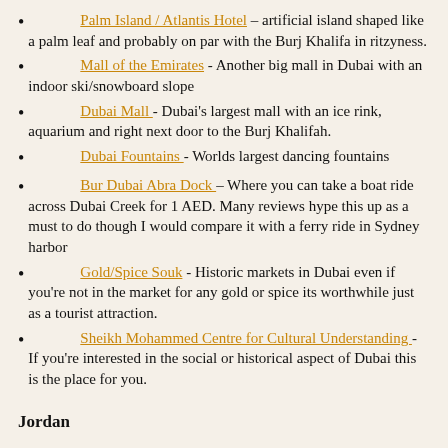Palm Island / Atlantis Hotel – artificial island shaped like a palm leaf and probably on par with the Burj Khalifa in ritzyness.
Mall of the Emirates - Another big mall in Dubai with an indoor ski/snowboard slope
Dubai Mall - Dubai's largest mall with an ice rink, aquarium and right next door to the Burj Khalifah.
Dubai Fountains - Worlds largest dancing fountains
Bur Dubai Abra Dock – Where you can take a boat ride across Dubai Creek for 1 AED. Many reviews hype this up as a must to do though I would compare it with a ferry ride in Sydney harbor
Gold/Spice Souk - Historic markets in Dubai even if you're not in the market for any gold or spice its worthwhile just as a tourist attraction.
Sheikh Mohammed Centre for Cultural Understanding - If you're interested in the social or historical aspect of Dubai this is the place for you.
Jordan